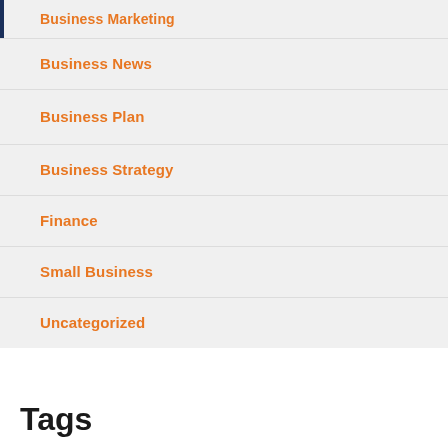Business Marketing
Business News
Business Plan
Business Strategy
Finance
Small Business
Uncategorized
Tags